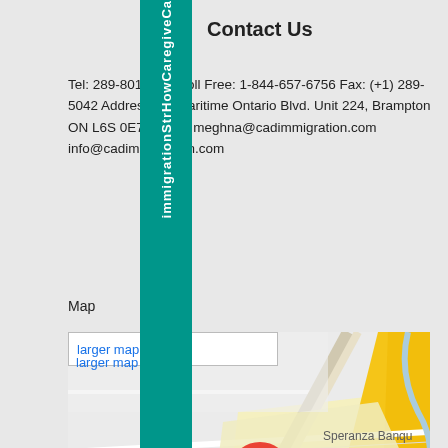Contact Us
Tel: 289-801-5048 Toll Free: 1-844-657-6756 Fax: (+1) 289-5042 Address: 80 Maritime Ontario Blvd. Unit 224, Brampton ON L6S 0E7 E-mail: meghna@cadimmigration.com info@cadimmigration.com
Map
[Figure (map): Google Maps screenshot showing location at 80 Maritime Ontario Blvd Unit 224, Brampton ON, with red location pin labeled 224, Speranza Banquet visible, yellow road visible, Google logo and copyright notice at bottom.]
Pluginbust Lite powered by WordPress